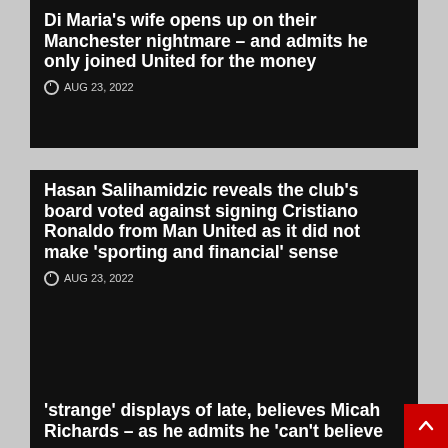Di Maria's wife opens up on their Manchester nightmare – and admits he only joined United for the money
AUG 23, 2022
Hasan Salihamidzic reveals the club's board voted against signing Cristiano Ronaldo from Man United as it did not make 'sporting and financial' sense
AUG 23, 2022
'strange' displays of late, believes Micah Richards – as he admits he 'can't believe